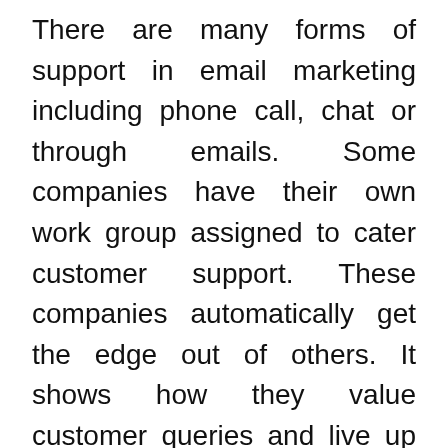There are many forms of support in email marketing including phone call, chat or through emails. Some companies have their own work group assigned to cater customer support. These companies automatically get the edge out of others. It shows how they value customer queries and live up to their pride as a good brand.
If cases happen and you finally picked the email marketing tool of your choice but there is no technical support offered, try to look for self help articles. If everything seems fine and you completely